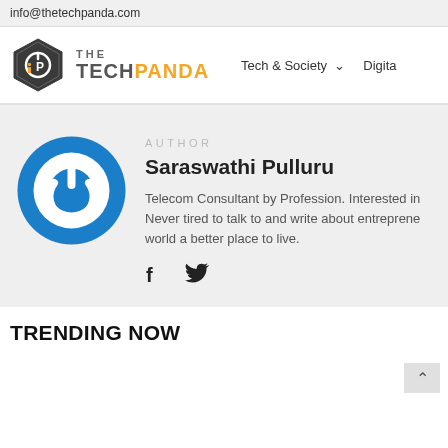info@thetechpanda.com
[Figure (logo): The Tech Panda logo with hexagon icon and orange/grey text, navigation items Tech & Society and Digita(l)]
AUTHOR
Saraswathi Pulluru
Telecom Consultant by Profession. Interested in Never tired to talk to and write about entreprene world a better place to live.
[Figure (illustration): Facebook and Twitter social media icons]
TRENDING NOW